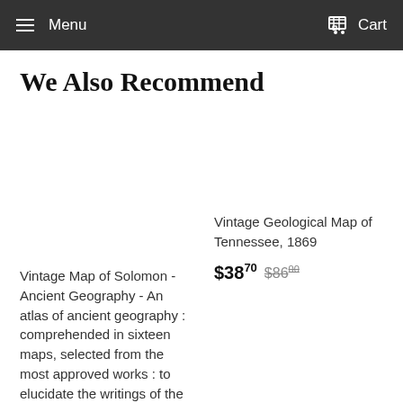Menu   Cart
We Also Recommend
Vintage Map of Solomon - Ancient Geography - An atlas of ancient geography : comprehended in sixteen maps, selected from the most approved works : to elucidate the writings of the ancient authors, both sacred and
Vintage Geological Map of Tennessee, 1869
$38.70  $86.00